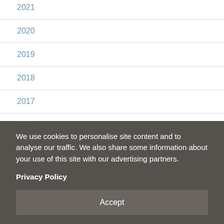2021
2020
2019
2018
2017
2016
2015
2012
We use cookies to personalise site content and to analyse our traffic. We also share some information about your use of this site with our advertising partners.
Privacy Policy
Accept